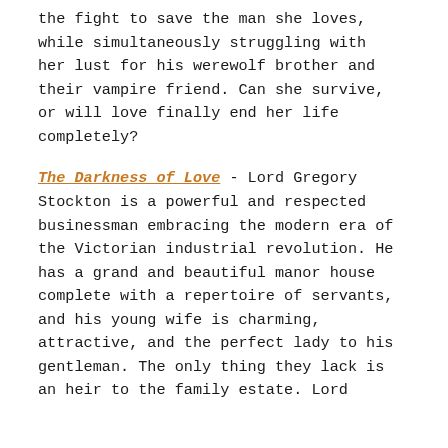the fight to save the man she loves, while simultaneously struggling with her lust for his werewolf brother and their vampire friend. Can she survive, or will love finally end her life completely?
The Darkness of Love - Lord Gregory Stockton is a powerful and respected businessman embracing the modern era of the Victorian industrial revolution. He has a grand and beautiful manor house complete with a repertoire of servants, and his young wife is charming, attractive, and the perfect lady to his gentleman. The only thing they lack is an heir to the family estate. Lord